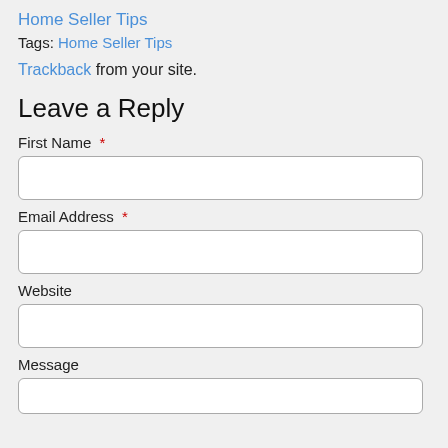Home Seller Tips
Tags: Home Seller Tips
Trackback from your site.
Leave a Reply
First Name *
Email Address *
Website
Message